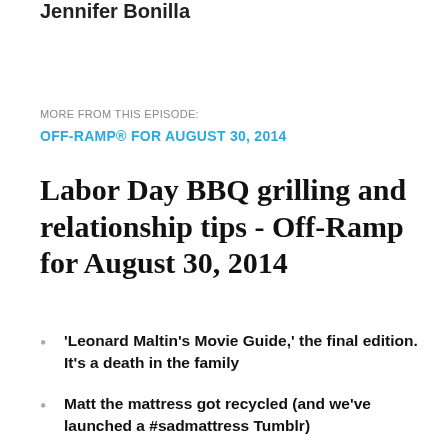Jennifer Bonilla
MORE FROM THIS EPISODE:
OFF-RAMP® FOR AUGUST 30, 2014
Labor Day BBQ grilling and relationship tips - Off-Ramp for August 30, 2014
'Leonard Maltin's Movie Guide,' the final edition. It's a death in the family
Matt the mattress got recycled (and we've launched a #sadmattress Tumblr)